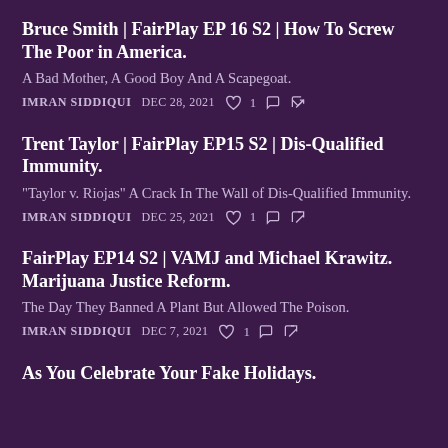Bruce Smith | FairPlay EP 16 S2 | How To Screw The Poor in America.
A Bad Mother, A Good Boy And A Scapegoat.
IMRAN SIDDIQUI   DEC 28, 2021   ♡ 1   💬   ↗
Trent Taylor | FairPlay EP15 S2 | Dis-Qualified Immunity.
"Taylor v. Riojas" A Crack In The Wall of Dis-Qualified Immunity.
IMRAN SIDDIQUI   DEC 25, 2021   ♡ 1   💬   ↗
FairPlay EP14 S2 | VAMJ and Michael Krawitz. Marijuana Justice Reform.
The Day They Banned A Plant But Allowed The Poison.
IMRAN SIDDIQUI   DEC 7, 2021   ♡ 1   💬   ↗
As You Celebrate Your Fake Holidays.